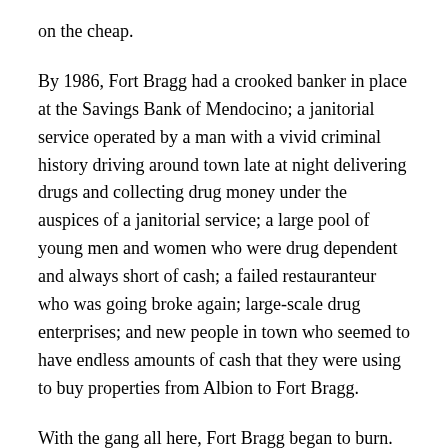on the cheap.
By 1986, Fort Bragg had a crooked banker in place at the Savings Bank of Mendocino; a janitorial service operated by a man with a vivid criminal history driving around town late at night delivering drugs and collecting drug money under the auspices of a janitorial service; a large pool of young men and women who were drug dependent and always short of cash; a failed restauranteur who was going broke again; large-scale drug enterprises; and new people in town who seemed to have endless amounts of cash that they were using to buy properties from Albion to Fort Bragg.
With the gang all here, Fort Bragg began to burn.
No one, least of all the one or two Fort Bragg cops who pulled the deep end of the night shift, suspected that “the hard-working big guy” swabbing out the banks and